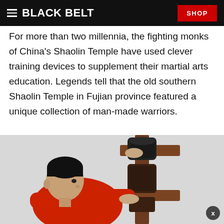BLACK BELT | SHOP
For more than two millennia, the fighting monks of China's Shaolin Temple have used clever training devices to supplement their martial arts education. Legends tell that the old southern Shaolin Temple in Fujian province featured a unique collection of man-made warriors.
[Figure (photo): A man in a red shirt practices wing chun strikes on a wooden dummy training apparatus, pushing his hands against the padded arms of the dummy.]